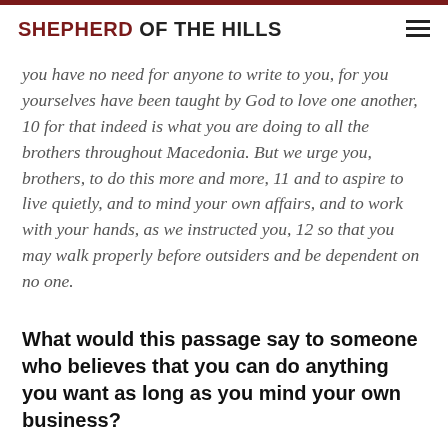SHEPHERD OF THE HILLS
you have no need for anyone to write to you, for you yourselves have been taught by God to love one another, 10 for that indeed is what you are doing to all the brothers throughout Macedonia. But we urge you, brothers, to do this more and more, 11 and to aspire to live quietly, and to mind your own affairs, and to work with your hands, as we instructed you, 12 so that you may walk properly before outsiders and be dependent on no one.
What would this passage say to someone who believes that you can do anything you want as long as you mind your own business?